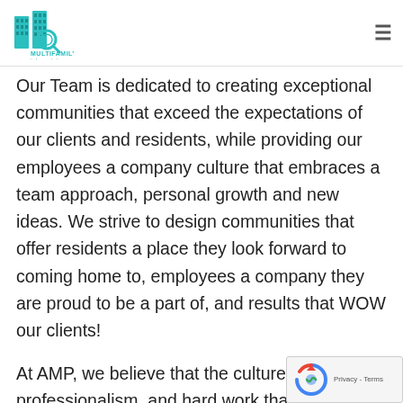Multifamily Job Portal
Our Team is dedicated to creating exceptional communities that exceed the expectations of our clients and residents, while providing our employees a company culture that embraces a team approach, personal growth and new ideas. We strive to design communities that offer residents a place they look forward to coming home to, employees a company they are proud to be a part of, and results that WOW our clients!
At AMP, we believe that the culture of integrity, professionalism, and hard work that we have been able to cultivate begins and ends with our team. We are striving to become the gold standard for property management companies in each state where we operate and we believe that the billion...